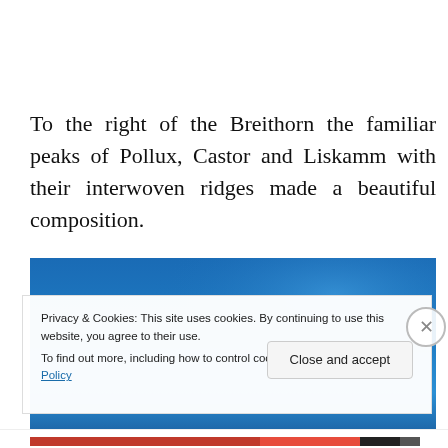To the right of the Breithorn the familiar peaks of Pollux, Castor and Liskamm with their interwoven ridges made a beautiful composition.
[Figure (photo): A photograph of a mountain scene with a bright blue sky and gradient fading to darker blue near the bottom. The image is partially obscured by a cookie consent overlay.]
Privacy & Cookies: This site uses cookies. By continuing to use this website, you agree to their use.
To find out more, including how to control cookies, see here: Cookie Policy
Close and accept